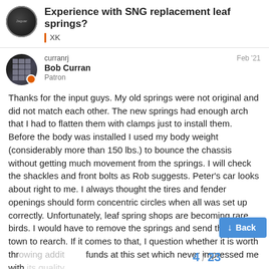Experience with SNG replacement leaf springs? XK
curranrj
Bob Curran
Patron
Feb '21
Thanks for the input guys. My old springs were not original and did not match each other. The new springs had enough arch that I had to flatten them with clamps just to install them. Before the body was installed I used my body weight (considerably more than 150 lbs.) to bounce the chassis without getting much movement from the springs. I will check the shackles and front bolts as Rob suggests. Peter's car looks about right to me. I always thought the tires and fender openings should form concentric circles when all was set up correctly. Unfortunately, leaf spring shops are becoming rare birds. I would have to remove the springs and send them out of town to rearch. If it comes to that, I question whether it is worth throwing additional funds at this set which never impressed me with its quality.
4 / 23